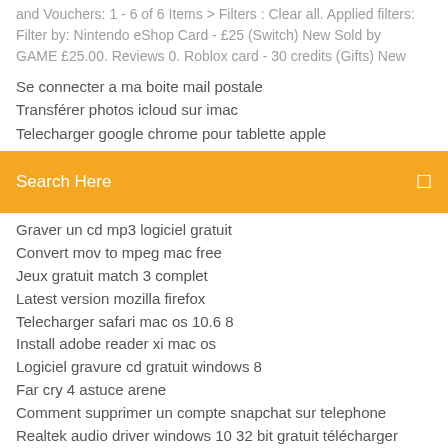and Vouchers: 1 - 6 of 6 Items > Filters : Clear all. Applied filters: Filter by: Nintendo eShop Card - £25 (Switch) New Sold by GAME £25.00. Reviews 0. Roblox card - 30 credits (Gifts) New
Se connecter a ma boite mail postale
Transférer photos icloud sur imac
Telecharger google chrome pour tablette apple
Search Here
Graver un cd mp3 logiciel gratuit
Convert mov to mpeg mac free
Jeux gratuit match 3 complet
Latest version mozilla firefox
Telecharger safari mac os 10.6 8
Install adobe reader xi mac os
Logiciel gravure cd gratuit windows 8
Far cry 4 astuce arene
Comment supprimer un compte snapchat sur telephone
Realtek audio driver windows 10 32 bit gratuit télécharger